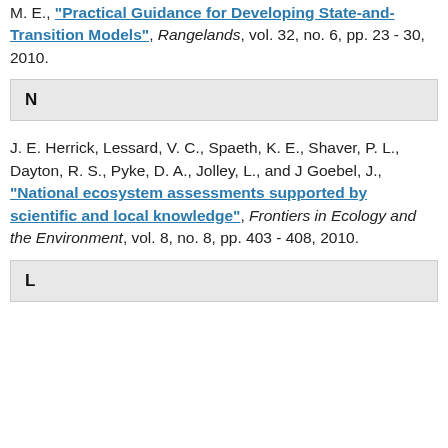M. E., "Practical Guidance for Developing State-and-Transition Models", Rangelands, vol. 32, no. 6, pp. 23 - 30, 2010.
N
J. E. Herrick, Lessard, V. C., Spaeth, K. E., Shaver, P. L., Dayton, R. S., Pyke, D. A., Jolley, L., and J Goebel, J., "National ecosystem assessments supported by scientific and local knowledge", Frontiers in Ecology and the Environment, vol. 8, no. 8, pp. 403 - 408, 2010.
L